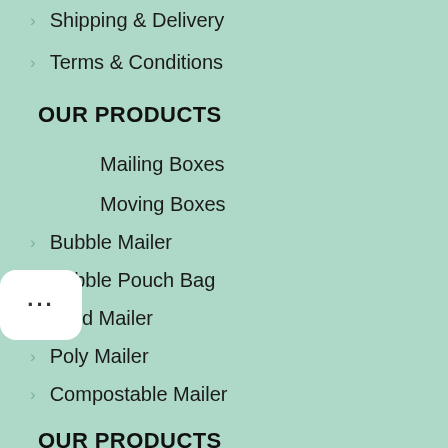Shipping & Delivery
Terms & Conditions
OUR PRODUCTS
Mailing Boxes
Moving Boxes
Bubble Mailer
Bubble Pouch Bag
Card Mailer
Poly Mailer
Compostable Mailer
OUR PRODUCTS
Plastic Wrap